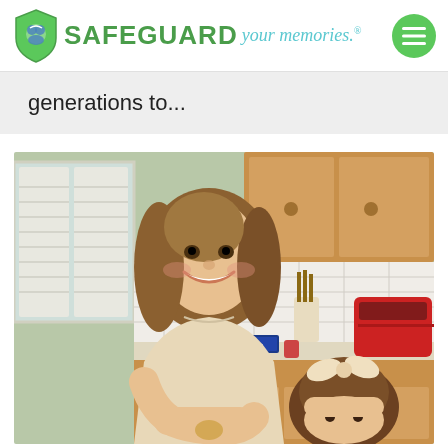SAFEGUARD your memories.
generations to...
[Figure (photo): A smiling woman with long wavy brown hair wearing a cream/tan sweater leaning over a kitchen counter with a young girl with a bow in her hair in the foreground. The kitchen has wood cabinets, white tile backsplash, and a red slow cooker on the counter.]